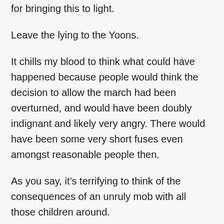for bringing this to light.
Leave the lying to the Yoons.
It chills my blood to think what could have happened because people would think the decision to allow the march had been overturned, and would have been doubly indignant and likely very angry. There would have been some very short fuses even amongst reasonable people then.
As you say, it’s terrifying to think of the consequences of an unruly mob with all those children around.